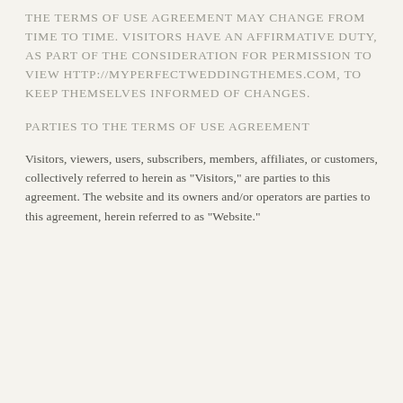THE TERMS OF USE AGREEMENT MAY CHANGE FROM TIME TO TIME. VISITORS HAVE AN AFFIRMATIVE DUTY, AS PART OF THE CONSIDERATION FOR PERMISSION TO VIEW HTTP://MYPERFECTWEDDINGTHEMES.COM, TO KEEP THEMSELVES INFORMED OF CHANGES.
PARTIES TO THE TERMS OF USE AGREEMENT
Visitors, viewers, users, subscribers, members, affiliates, or customers, collectively referred to herein as "Visitors," are parties to this agreement. The website and its owners and/or operators are parties to this agreement, herein referred to as "Website."